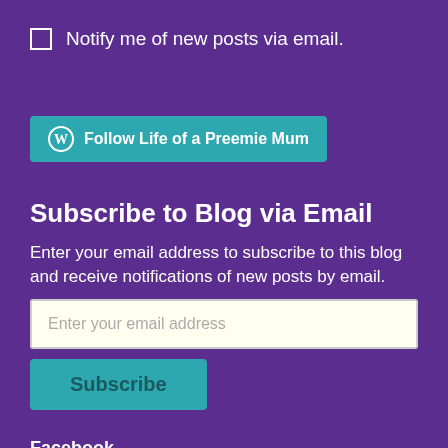Notify me of new posts via email.
[Figure (other): Follow Life of a Preemie Mum button with WordPress logo]
Subscribe to Blog via Email
Enter your email address to subscribe to this blog and receive notifications of new posts by email.
Enter your email address (input field)
Subscribe (button)
Facebook
Life of a Preemie Mum, Website Powered by WordPress.com.